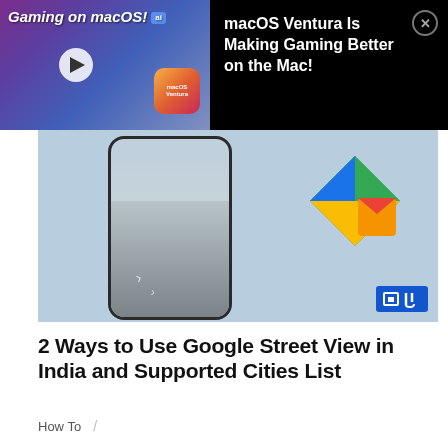[Figure (screenshot): Video ad overlay: Gaming on macOS! with Ventura icon, play button thumbnail on left; right side shows black background with text 'macOS Ventura Is Making Gaming Better on the Mac!' and close button]
macOS Ventura Is Making Gaming Better on the Mac!
[Figure (photo): Article hero image showing a smartphone displaying a street view scene, alongside the Google Maps logo icon, on a light blue background with a GJ watermark logo in the bottom right]
2 Ways to Use Google Street View in India and Supported Cities List
How To  /